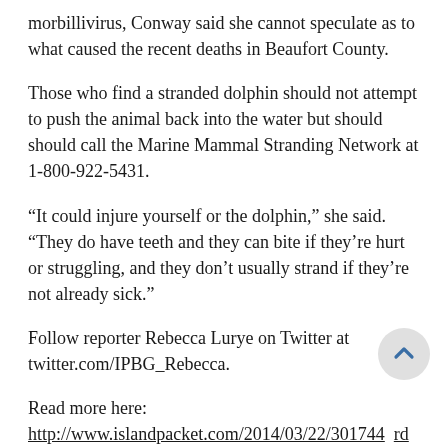morbillivirus, Conway said she cannot speculate as to what caused the recent deaths in Beaufort County.
Those who find a stranded dolphin should not attempt to push the animal back into the water but should should call the Marine Mammal Stranding Network at 1-800-922-5431.
“It could injure yourself or the dolphin,” she said. “They do have teeth and they can bite if they’re hurt or struggling, and they don’t usually strand if they’re not already sick.”
Follow reporter Rebecca Lurye on Twitter at twitter.com/IPBG_Rebecca.
Read more here: http://www.islandpacket.com/2014/03/22/3017446rd-bottlenose-dolphin-found-dead.html?sp=/99/100/&ibn=1#storylink=cpy